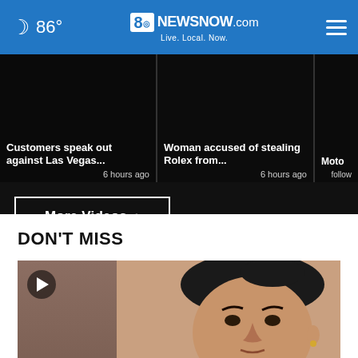86° | 8NewsNow.com Live. Local. Now.
Customers speak out against Las Vegas... 6 hours ago
Woman accused of stealing Rolex from... 6 hours ago
Moto... follow...
More Videos ›
DON'T MISS
[Figure (screenshot): Video thumbnail with play button showing a woman's face]